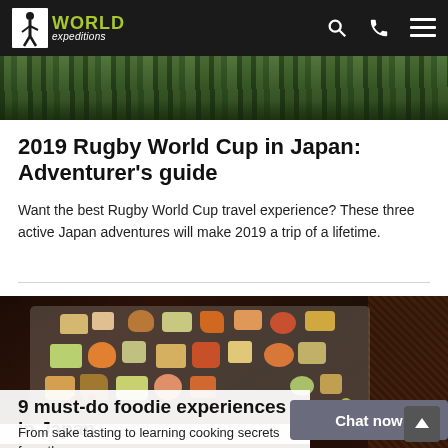World Expeditions
[Figure (photo): Aerial/overhead view of lush green forest canopy]
2019 Rugby World Cup in Japan: Adventurer’s guide
Want the best Rugby World Cup travel experience? These three active Japan adventures will make 2019 a trip of a lifetime.
[Figure (photo): Traditional Japanese kaiseki multi-dish meal on a rectangular plate with various colorful small dishes including sushi, tempura, and seasonal ingredients]
9 must-do foodie experiences in Japan
From sake tasting to learning cooking secrets from the